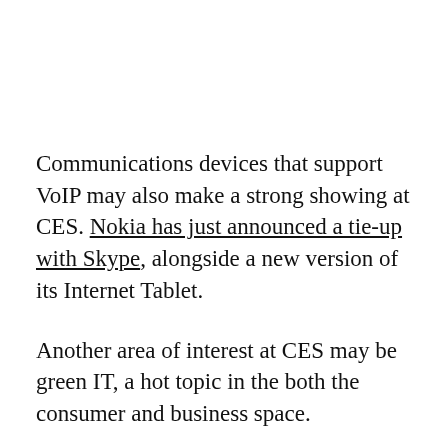Communications devices that support VoIP may also make a strong showing at CES. Nokia has just announced a tie-up with Skype, alongside a new version of its Internet Tablet.
Another area of interest at CES may be green IT, a hot topic in the both the consumer and business space.
But CES won't have all the headlines to itself. It's going up against Apple's MacWorld show in San Francisco. Much of the pre-show gossip has been